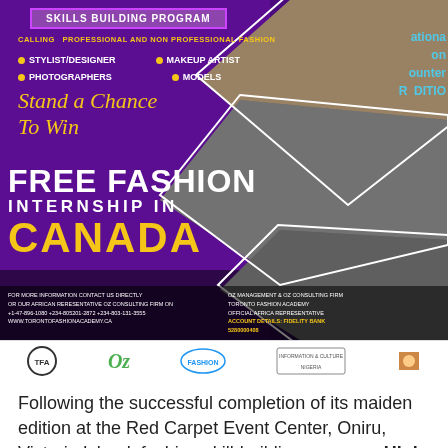[Figure (infographic): Fashion skills building program promotional poster on purple background. Contains 'SKILLS BUILDING PROGRAM' banner, bullet list of roles (Stylist/Designer, Makeup Artist, Photographers, Models), gold italic text 'Stand a Chance To Win', large white text 'FREE FASHION INTERNSHIP IN' and gold 'CANADA'. Contact details at bottom. Diamond-shaped fashion event photos on right side.]
[Figure (infographic): Logos bar with Toronto Fashion Academy logo, OZ logo in green, and two other organizational logos.]
Following the successful completion of its maiden edition at the Red Carpet Event Center, Oniru, Victoria Island, fashion skill-building program, High